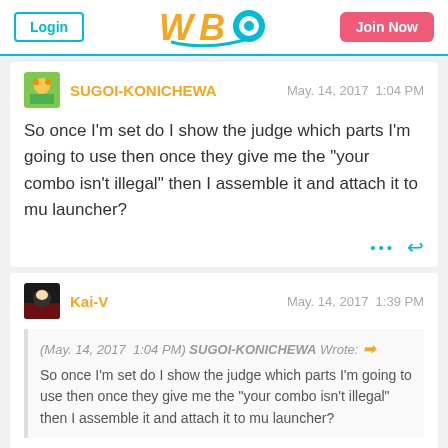Login | WBO | Join Now
SUGOI-KONICHEWA  May. 14, 2017  1:04 PM
So once I'm set do I show the judge which parts I'm going to use then once they give me the "your combo isn't illegal" then I assemble it and attach it to mu launcher?
Kai-V  May. 14, 2017  1:39 PM
(May. 14, 2017  1:04 PM) SUGOI-KONICHEWA Wrote:
So once I'm set do I show the judge which parts I'm going to use then once they give me the "your combo isn't illegal" then I assemble it and attach it to mu launcher?